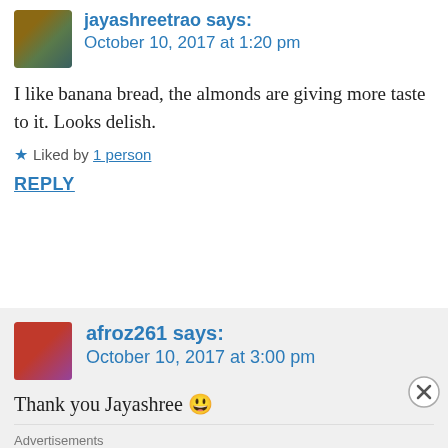jayashreetrao says: October 10, 2017 at 1:20 pm
I like banana bread, the almonds are giving more taste to it. Looks delish.
★ Liked by 1 person
REPLY
afroz261 says: October 10, 2017 at 3:00 pm
Thank you Jayashree 😀
Advertisements